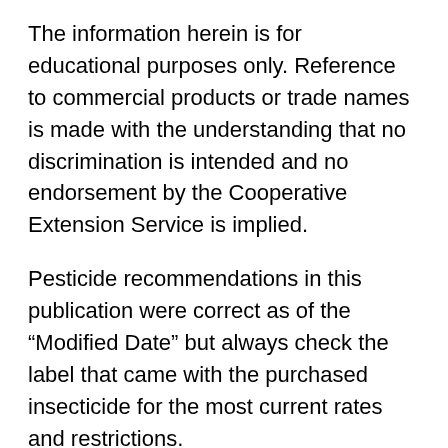The information herein is for educational purposes only. Reference to commercial products or trade names is made with the understanding that no discrimination is intended and no endorsement by the Cooperative Extension Service is implied.
Pesticide recommendations in this publication were correct as of the “Modified Date” but always check the label that came with the purchased insecticide for the most current rates and restrictions.
The first name listed is the trade name of a product registered for us…orn for the listed pest. The name in (paren…s) listed below the